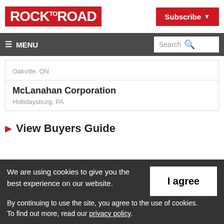[Figure (logo): Rock to Road magazine logo — white text on red background]
[Figure (other): Subscribe button — white text on red background with dropdown arrow]
≡ MENU   Search 🔍
Oakville, ON
McLanahan Corporation
Hollidaysburg, PA
▶ View Buyers Guide
We are using cookies to give you the best experience on our website.
By continuing to use the site, you agree to the use of cookies.
To find out more, read our privacy policy.